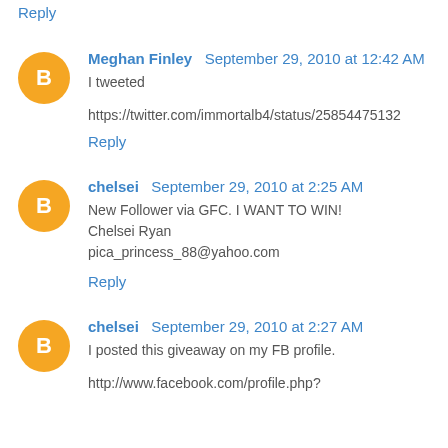Reply
Meghan Finley  September 29, 2010 at 12:42 AM
I tweeted
https://twitter.com/immortalb4/status/25854475132
Reply
chelsei  September 29, 2010 at 2:25 AM
New Follower via GFC. I WANT TO WIN!
Chelsei Ryan
pica_princess_88@yahoo.com
Reply
chelsei  September 29, 2010 at 2:27 AM
I posted this giveaway on my FB profile.
http://www.facebook.com/profile.php?